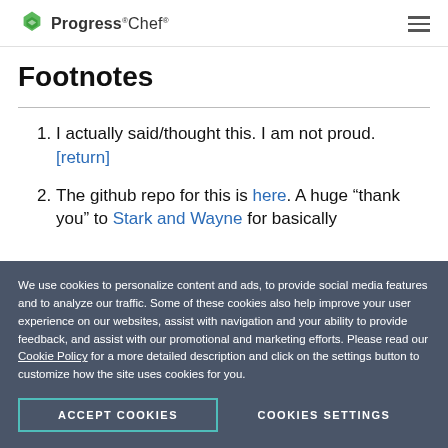Progress Chef [hamburger menu]
Footnotes
1. I actually said/thought this. I am not proud. [return]
2. The github repo for this is here. A huge “thank you” to Stark and Wayne for basically
We use cookies to personalize content and ads, to provide social media features and to analyze our traffic. Some of these cookies also help improve your user experience on our websites, assist with navigation and your ability to provide feedback, and assist with our promotional and marketing efforts. Please read our Cookie Policy for a more detailed description and click on the settings button to customize how the site uses cookies for you.
ACCEPT COOKIES | COOKIES SETTINGS